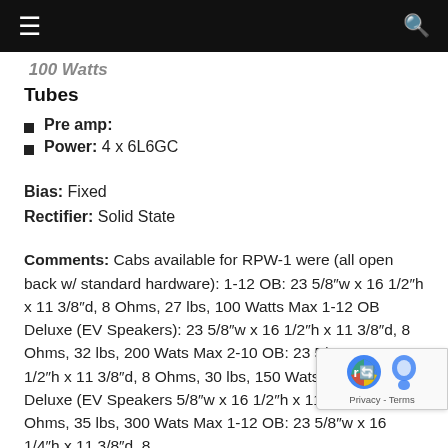☰  [menu]  [search icon]
Tubes
Pre amp:
Power: 4 x 6L6GC
Bias: Fixed
Rectifier: Solid State
Comments: Cabs available for RPW-1 were (all open back w/ standard hardware): 1-12 OB: 23 5/8″w x 16 1/2″h x 11 3/8″d, 8 Ohms, 27 lbs, 100 Watts Max 1-12 OB Deluxe (EV Speakers): 23 5/8″w x 16 1/2″h x 11 3/8″d, 8 Ohms, 32 lbs, 200 Wats Max 2-10 OB: 23 5/8″w x 16 1/2″h x 11 3/8″d, 8 Ohms, 30 lbs, 150 Wats Max 2-10 OB Deluxe (EV Speakers) 5/8″w x 16 1/2″h x 11 3/8″d, 8 Ohms, 35 lbs, 300 Wats Max 1-12 OB: 23 5/8″w x 16 1/4″h x 11 3/8″d, 8...